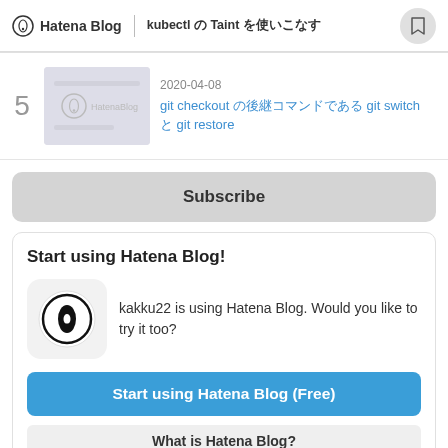Hatena Blog | kubectl の Taint を使いこなす
5  2020-04-08  git checkout の後継コマンドである git switch と git restore
Subscribe
Start using Hatena Blog!
kakku22 is using Hatena Blog. Would you like to try it too?
Start using Hatena Blog (Free)
What is Hatena Blog?